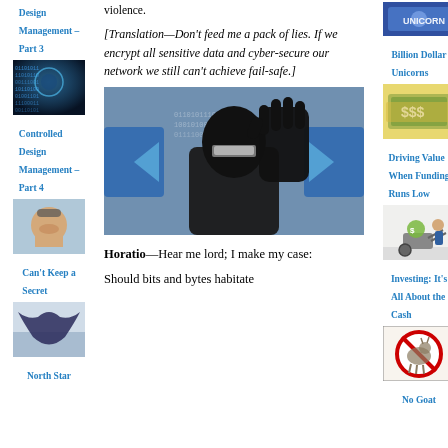violence.
[Translation—Don't feed me a pack of lies. If we encrypt all sensitive data and cyber-secure our network we still can't achieve fail-safe.]
Controlled Design Management – Part 3
[Figure (photo): Binary/matrix data background image]
Controlled Design Management – Part 4
[Figure (photo): Man laughing outdoors]
Can't Keep a Secret
[Figure (photo): Eagle in flight]
North Star
[Figure (photo): Billion Dollar Unicorns thumbnail]
Billion Dollar Unicorns
[Figure (photo): Money/cash pile thumbnail]
Driving Value When Funding Runs Low
[Figure (photo): Man with wheelbarrow of money]
Investing: It's All About the Cash
[Figure (photo): No goat sign]
No Goat
[Figure (photo): Masked cybercriminal figure with gloved hand raised]
Horatio—Hear me lord; I make my case:
Should bits and bytes habitate